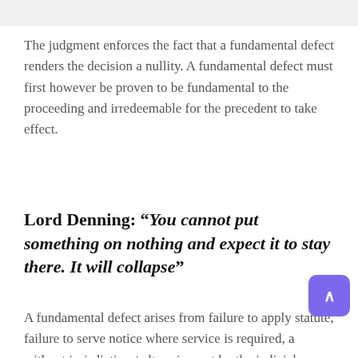The judgment enforces the fact that a fundamental defect renders the decision a nullity. A fundamental defect must first however be proven to be fundamental to the proceeding and irredeemable for the precedent to take effect.
Lord Denning: “You cannot put something on nothing and expect it to stay there. It will collapse”
A fundamental defect arises from failure to apply statute, failure to serve notice where service is required, a without jurisdiction / ultra vires act by the judicial or public office holder, or any fundamental breach of the principles of natural justice